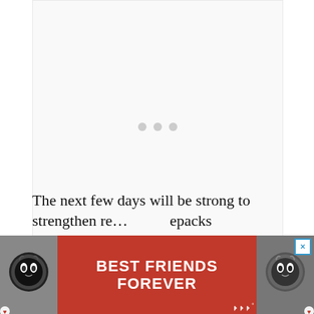[Figure (other): Loading placeholder area with three gray dots in the center, indicating content is loading]
The next few days will be strong to strengthen re... ...epacks
[Figure (other): Advertisement banner: 'BEST FRIENDS FOREVER' on red background with two cat photos and a close button]